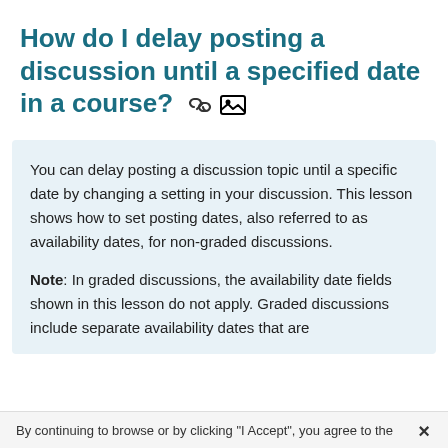How do I delay posting a discussion until a specified date in a course?
You can delay posting a discussion topic until a specific date by changing a setting in your discussion. This lesson shows how to set posting dates, also referred to as availability dates, for non-graded discussions.
Note: In graded discussions, the availability date fields shown in this lesson do not apply. Graded discussions include separate availability dates that are
By continuing to browse or by clicking "I Accept", you agree to the